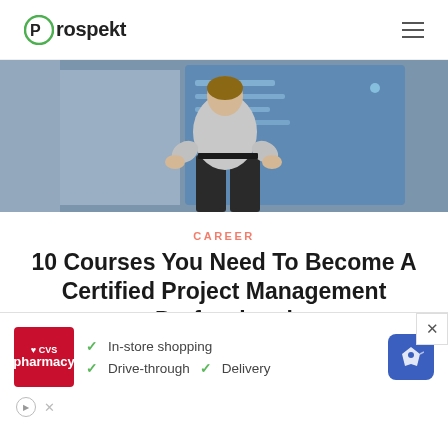Prospekt
[Figure (photo): Person standing with hands on hips facing a board with project management notes, viewed from behind, blue/grey tones]
CAREER
10 Courses You Need To Become A Certified Project Management Professional
2021
The Complete 2020 PMP Training Bundle is
[Figure (screenshot): CVS Pharmacy advertisement showing In-store shopping, Drive-through, and Delivery services with map icon]